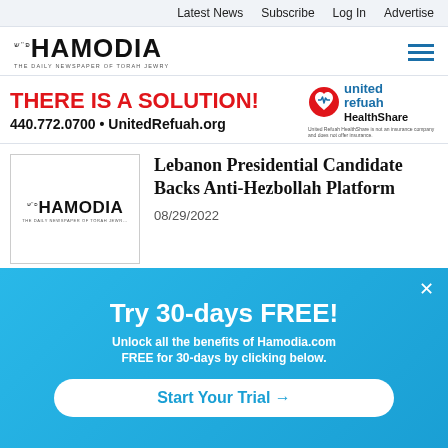Latest News   Subscribe   Log In   Advertise
[Figure (logo): Hamodia logo - THE DAILY NEWSPAPER OF TORAH JEWRY with hamburger menu icon]
[Figure (infographic): United Refuah HealthShare advertisement: THERE IS A SOLUTION! 440.772.0700 • UnitedRefuah.org with logo]
Lebanon Presidential Candidate Backs Anti-Hezbollah Platform
08/29/2022
Try 30-days FREE!
Unlock all the benefits of Hamodia.com FREE for 30-days by clicking below.
Start Your Trial →